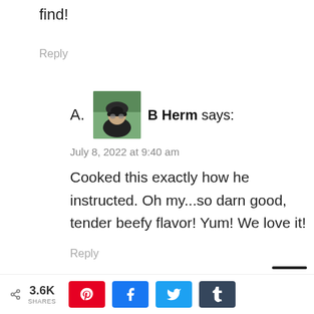find!
Reply
A.  B Herm says:
July 8, 2022 at 9:40 am
Cooked this exactly how he instructed. Oh my...so darn good, tender beefy flavor! Yum! We love it!
Reply
< 3.6K SHARES [Pinterest] [Facebook] [Twitter] [Tumblr]